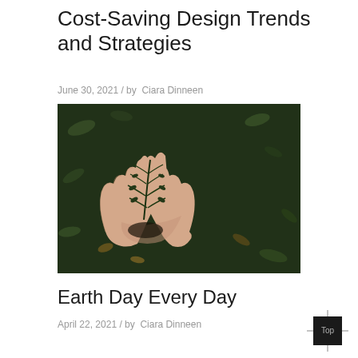Cost-Saving Design Trends and Strategies
June 30, 2021 / by  Ciara Dinneen
[Figure (photo): Hands cupped together holding a green fern plant against a dark leafy ground background]
Earth Day Every Day
April 22, 2021 / by  Ciara Dinneen